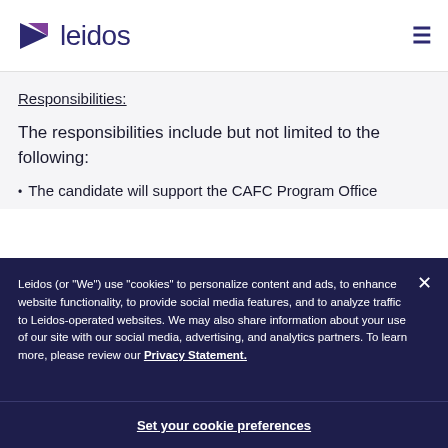[Figure (logo): Leidos logo with purple/teal triangular arrow and dark blue 'leidos' text]
Responsibilities:
The responsibilities include but not limited to the following:
The candidate will support the CAFC Program Office
Leidos (or “We”) use “cookies” to personalize content and ads, to enhance website functionality, to provide social media features, and to analyze traffic to Leidos-operated websites. We may also share information about your use of our site with our social media, advertising, and analytics partners. To learn more, please review our Privacy Statement.
Set your cookie preferences